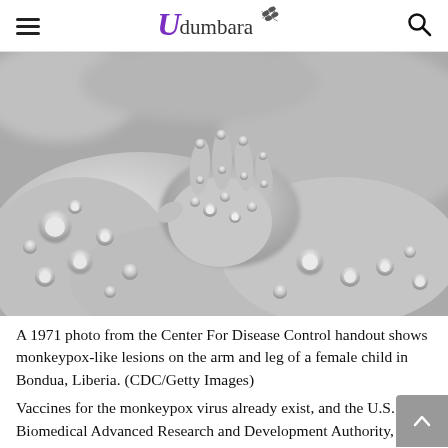Udumbara
[Figure (photo): Black and white 1971 CDC photo showing monkeypox-like lesions covering the arm and leg of a female child in Bondua, Liberia. A small hand with raised pox lesions rests on a larger limb also covered with numerous round raised lesions.]
A 1971 photo from the Center For Disease Control handout shows monkeypox-like lesions on the arm and leg of a female child in Bondua, Liberia. (CDC/Getty Images)
Vaccines for the monkeypox virus already exist, and the U.S. Biomedical Advanced Research and Development Authority,